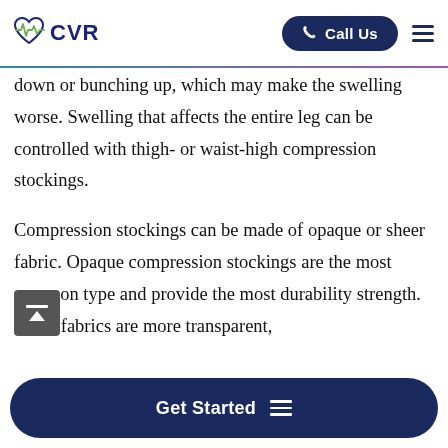CVR | Call Us
down or bunching up, which may make the swelling worse. Swelling that affects the entire leg can be controlled with thigh- or waist-high compression stockings.
Compression stockings can be made of opaque or sheer fabric. Opaque compression stockings are the most common type and provide the most durability strength. Sheer fabrics are more transparent,